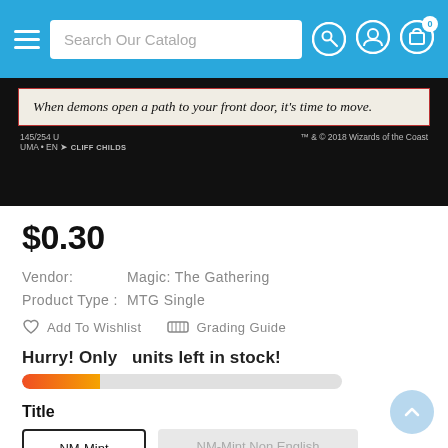Search Our Catalog
[Figure (photo): Bottom portion of a Magic: The Gathering card showing flavor text 'When demons open a path to your front door, it’s time to move.' with card info 145/254 U, UMA • EN, Cliff Childs, TM & © 2018 Wizards of the Coast]
$0.30
Vendor: Magic: The Gathering
Product Type : MTG Single
Add To Wishlist   Grading Guide
Hurry! Only   units left in stock!
Title
NM-Mint
NM-Mint Non English